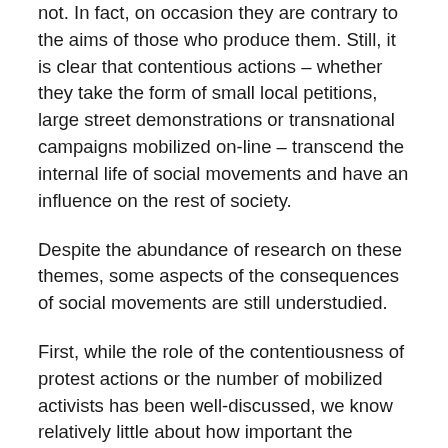not. In fact, on occasion they are contrary to the aims of those who produce them. Still, it is clear that contentious actions – whether they take the form of small local petitions, large street demonstrations or transnational campaigns mobilized on-line – transcend the internal life of social movements and have an influence on the rest of society.
Despite the abundance of research on these themes, some aspects of the consequences of social movements are still understudied.
First, while the role of the contentiousness of protest actions or the number of mobilized activists has been well-discussed, we know relatively little about how important the content of claims is for achieving movements' goals. Framing has been shown to play a role in shaping political outcomes in some contexts, but more research could be done in this field. For example, how does the deliberative